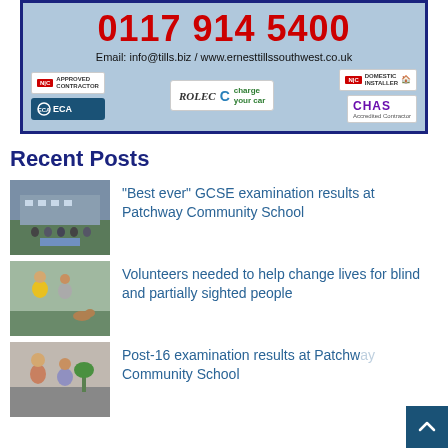[Figure (infographic): Advertisement banner with light blue background and dark blue border showing phone number 0117 914 5400 in large red text, email and website, and logos for NICEIC, ECA, ROLEC charge your car, and CHAS]
Recent Posts
[Figure (photo): Group of students standing outside a school building holding certificates or papers]
“Best ever” GCSE examination results at Patchway Community School
[Figure (photo): Two people standing outdoors, one in a yellow jacket, possibly with a guide dog]
Volunteers needed to help change lives for blind and partially sighted people
[Figure (photo): Two people indoors, possibly at a school or community event]
Post-16 examination results at Patchway Community School